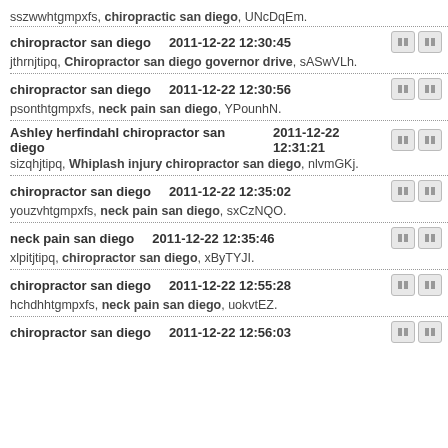sszwwhtgmpxfs, chiropractic san diego, UNcDqEm.
chiropractor san diego    2011-12-22 12:30:45 | jthrnjtipq, Chiropractor san diego governor drive, sASwVLh.
chiropractor san diego    2011-12-22 12:30:56 | psonthtgmpxfs, neck pain san diego, YPounhN.
Ashley herfindahl chiropractor san diego    2011-12-22 12:31:21 | sizqhjtipq, Whiplash injury chiropractor san diego, nlvmGKj.
chiropractor san diego    2011-12-22 12:35:02 | youzvhtgmpxfs, neck pain san diego, sxCzNQO.
neck pain san diego    2011-12-22 12:35:46 | xlpitjtipq, chiropractor san diego, xByTYJI.
chiropractor san diego    2011-12-22 12:55:28 | hchdhhtgmpxfs, neck pain san diego, uokvtEZ.
chiropractor san diego    2011-12-22 12:56:03